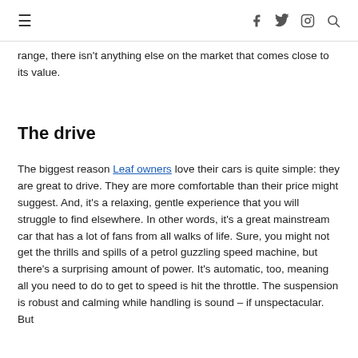≡  f  twitter  instagram  search
range, there isn't anything else on the market that comes close to its value.
The drive
The biggest reason Leaf owners love their cars is quite simple: they are great to drive. They are more comfortable than their price might suggest. And, it's a relaxing, gentle experience that you will struggle to find elsewhere. In other words, it's a great mainstream car that has a lot of fans from all walks of life. Sure, you might not get the thrills and spills of a petrol guzzling speed machine, but there's a surprising amount of power. It's automatic, too, meaning all you need to do to get to speed is hit the throttle. The suspension is robust and calming while handling is sound – if unspectacular. But